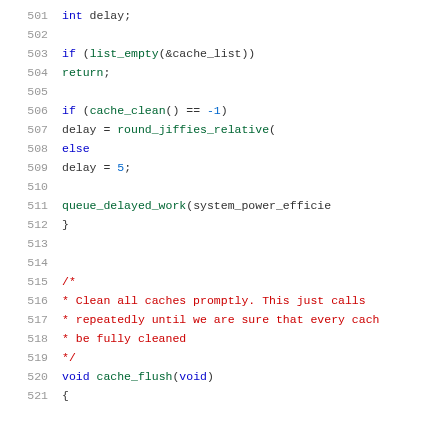Source code listing, lines 501-521, showing C code with syntax highlighting. Lines include variable declaration, if/else logic, queue_delayed_work call, a block comment describing cache_flush, and the beginning of the cache_flush function definition.